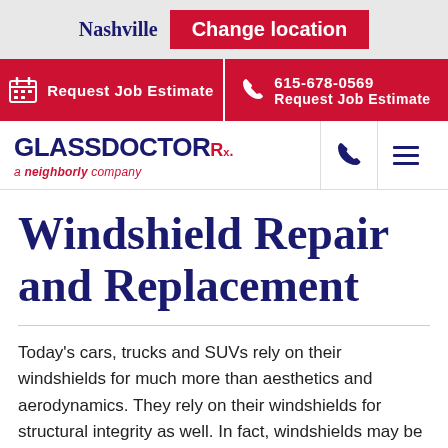Nashville  Change location
Request Job Estimate  |  615-678-0569  Request Job Estimate
[Figure (logo): Glass Doctor Rx logo — a neighborly company]
Windshield Repair and Replacement
Today's cars, trucks and SUVs rely on their windshields for much more than aesthetics and aerodynamics. They rely on their windshields for structural integrity as well. In fact, windshields may be every bit as important to the structural integrity